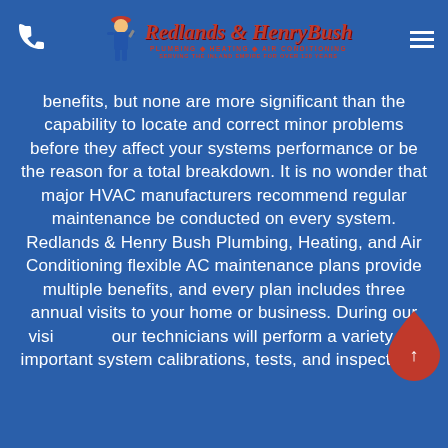Redlands & Henry Bush Plumbing · Heating · Air Conditioning — Serving the Inland Empire for over 120 years
benefits, but none are more significant than the capability to locate and correct minor problems before they affect your systems performance or be the reason for a total breakdown. It is no wonder that major HVAC manufacturers recommend regular maintenance be conducted on every system. Redlands & Henry Bush Plumbing, Heating, and Air Conditioning flexible AC maintenance plans provide multiple benefits, and every plan includes three annual visits to your home or business. During our visit our technicians will perform a variety of important system calibrations, tests, and inspections.